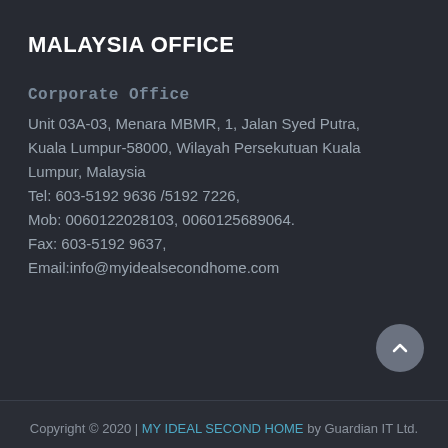MALAYSIA OFFICE
Corporate Office
Unit 03A-03, Menara MBMR, 1, Jalan Syed Putra, Kuala Lumpur-58000, Wilayah Persekutuan Kuala Lumpur, Malaysia
Tel: 603-5192 9636 /5192 7226,
Mob: 0060122028103, 0060125689064.
Fax: 603-5192 9637,
Email:info@myidealsecondhome.com
Copyright © 2020 | MY IDEAL SECOND HOME by Guardian IT Ltd.